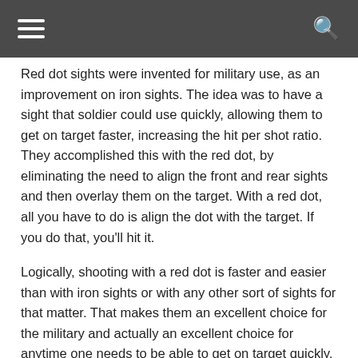Red dot sights were invented for military use, as an improvement on iron sights. The idea was to have a sight that soldier could use quickly, allowing them to get on target faster, increasing the hit per shot ratio. They accomplished this with the red dot, by eliminating the need to align the front and rear sights and then overlay them on the target. With a red dot, all you have to do is align the dot with the target. If you do that, you'll hit it.
Logically, shooting with a red dot is faster and easier than with iron sights or with any other sort of sights for that matter. That makes them an excellent choice for the military and actually an excellent choice for anytime one needs to be able to get on target quickly, such as in a self-defense scenario.
So, why don't I have one on any of my pistols?
Even with all the advantages that red dot sights offer, they